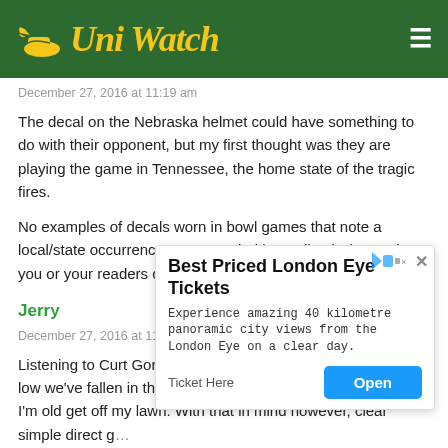Uni Watch
December 27, 2016 at 11:19 am
The decal on the Nebraska helmet could have something to do with their opponent, but my first thought was they are playing the game in Tennessee, the home state of the tragic fires.
No examples of decals worn in bowl games that note a local/state occurrence come to mind immediately, but perhaps you or your readers can recall an instance.
Jerry
December 27, 2016 at 11:24 am
Listening to Curt Gordy for two minutes just reminds me how low we've fallen in the state of sports broadcasting. I know, I'm old get off my lawn. With that in mind however, clear simple direct g... I thought...
Paul
Dece...
[Figure (other): Advertisement overlay for Best Priced London Eye Tickets with Open button]